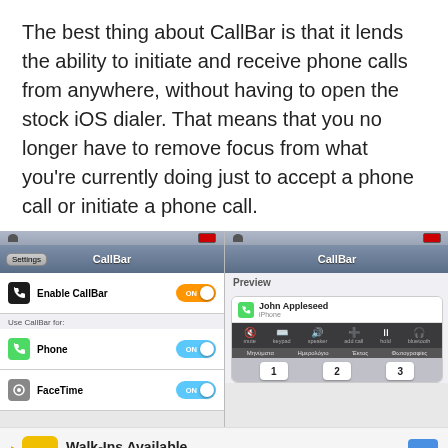The best thing about CallBar is that it lends the ability to initiate and receive phone calls from anywhere, without having to open the stock iOS dialer. That means that you no longer have to remove focus from what you're currently doing just to accept a phone call or initiate a phone call.
[Figure (screenshot): Two iOS screenshots side by side. Left: CallBar settings screen showing Enable CallBar toggle (ON/orange), Use CallBar for: Phone (ON/blue) and FaceTime (ON/blue). Right: CallBar preview screen showing an incoming call from John Appleseed with call controls and numpad.]
[Figure (screenshot): Advertisement banner for Hair Cuttery: Walk-Ins Available, with HC logo and blue arrow icon.]